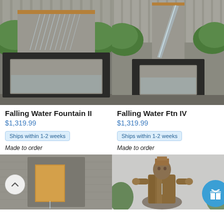[Figure (photo): Falling Water Fountain II - modern concrete water wall fountain with copper accent and square basin, photographed outdoors against gray wooden fence with green shrubs]
[Figure (photo): Falling Water Ftn IV - tall modern concrete water wall fountain with square basin, photographed outdoors against gray wooden fence with green shrubs]
Falling Water Fountain II
$1,319.99
Ships within 1-2 weeks
Made to order
Falling Water Ftn IV
$1,319.99
Ships within 1-2 weeks
Made to order
[Figure (photo): Wall fountain with copper rectangular accent panel on gray concrete wall]
[Figure (photo): Bronze/gold seated Buddha or deity statue outdoors with tropical plants in background; circular blue gift/reward button overlay in top right]